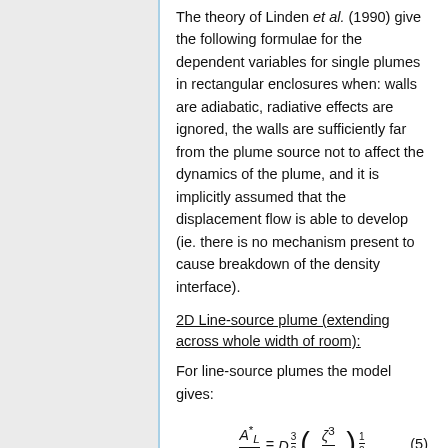The theory of Linden et al. (1990) give the following formulae for the dependent variables for single plumes in rectangular enclosures when: walls are adiabatic, radiative effects are ignored, the walls are sufficiently far from the plume source not to affect the dynamics of the plume, and it is implicitly assumed that the displacement flow is able to develop (ie. there is no mechanism present to cause breakdown of the density interface).
2D Line-source plume (extending across whole width of room):
For line-source plumes the model gives: